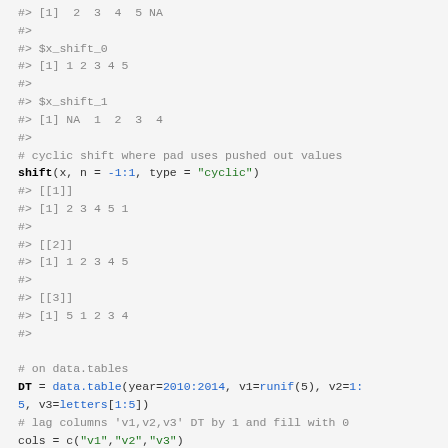#> [1]  2  3  4  5 NA
#>
#> $x_shift_0
#> [1] 1 2 3 4 5
#>
#> $x_shift_1
#> [1] NA  1  2  3  4
#>
# cyclic shift where pad uses pushed out values
shift(x, n = -1:1, type = "cyclic")
#> [[1]]
#> [1] 2 3 4 5 1
#>
#> [[2]]
#> [1] 1 2 3 4 5
#>
#> [[3]]
#> [1] 5 1 2 3 4
#>

# on data.tables
DT = data.table(year=2010:2014, v1=runif(5), v2=1:5, v3=letters[1:5])
# lag columns 'v1,v2,v3' DT by 1 and fill with 0
cols = c("v1","v2","v3")